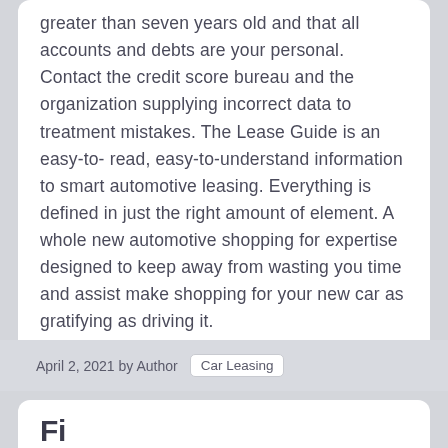greater than seven years old and that all accounts and debts are your personal. Contact the credit score bureau and the organization supplying incorrect data to treatment mistakes. The Lease Guide is an easy-to-read, easy-to-understand information to smart automotive leasing. Everything is defined in just the right amount of element. A whole new automotive shopping for expertise designed to keep away from wasting you time and assist make shopping for your new car as gratifying as driving it.
… Read More
April 2, 2021 by Author  Car Leasing
Fi...